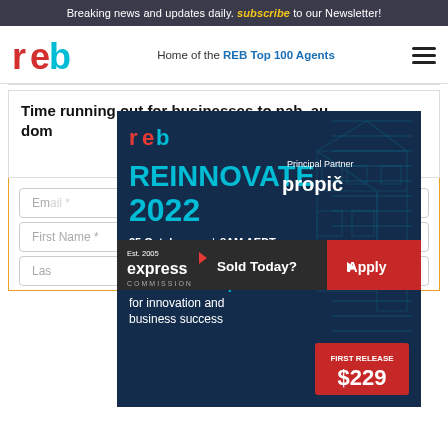Breaking news and updates daily. subscribe to our Newsletter!
[Figure (logo): REB logo - red and blue 'reb' text]
Home of the REB Top 100 Agents
Time running out for businesses to nab .au domains
[Figure (advertisement): REB Reinnovate 2022 conference ad. Principal Partner: propic. 25 October | 8AM AEDT. Pullman Melbourne on the Park. Access the blueprint for innovation and business success. FIRST RELEASE $229]
Email *
First Name *
Last Name *
[Figure (advertisement): Express Commission ad. Est. 2005. Sold Today? Apply]